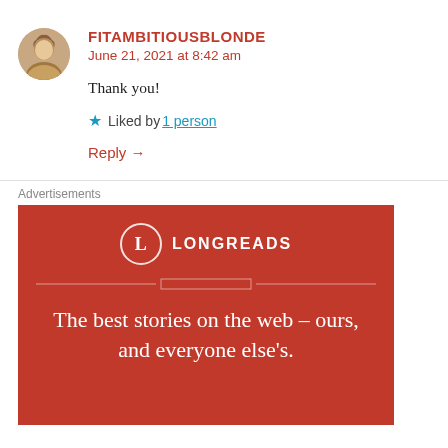FITAMBITIOUSBLONDE
June 21, 2021 at 8:42 am
Thank you!
★ Liked by 1 person
Reply →
Advertisements
[Figure (illustration): Longreads advertisement banner on red background with logo circle, decorative lines, and text: The best stories on the web – ours, and everyone else's.]